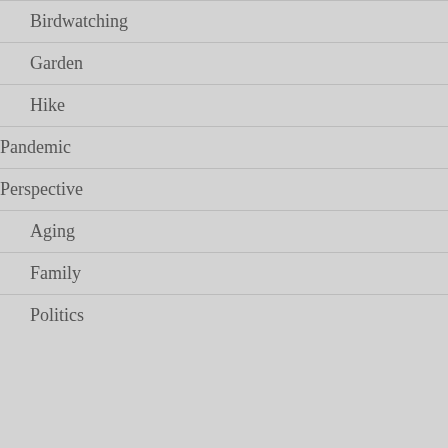Birdwatching
Garden
Hike
Pandemic
Perspective
Aging
Family
Politics